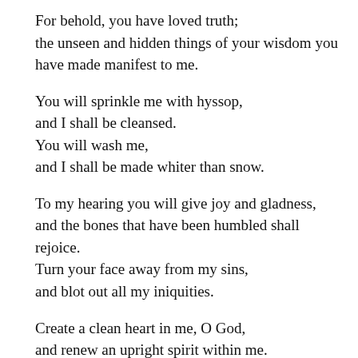For behold, you have loved truth;
the unseen and hidden things of your wisdom you have made manifest to me.
You will sprinkle me with hyssop,
and I shall be cleansed.
You will wash me,
and I shall be made whiter than snow.
To my hearing you will give joy and gladness,
and the bones that have been humbled shall rejoice.
Turn your face away from my sins,
and blot out all my iniquities.
Create a clean heart in me, O God,
and renew an upright spirit within me.
Cast me not away from your face,
and take not your holy spirit from me.